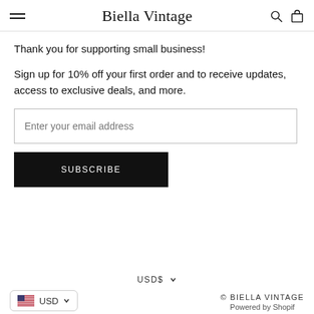Biella Vintage
Thank you for supporting small business!
Sign up for 10% off your first order and to receive updates, access to exclusive deals, and more.
Enter your email address
SUBSCRIBE
USD$
USD
© BIELLA VINTAGE
Powered by Shopif